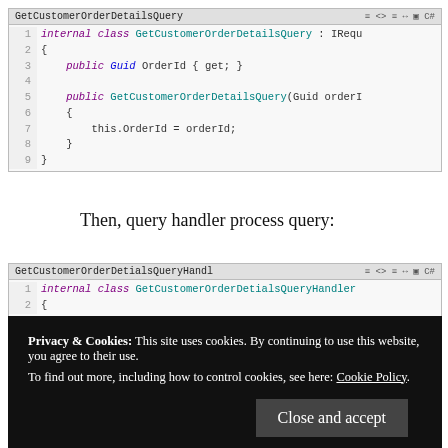[Figure (screenshot): Code editor screenshot showing GetCustomerOrderDetailsQuery class in C#]
Then, query handler process query:
[Figure (screenshot): Code editor screenshot showing GetCustomerOrderDetialsQueryHandler class in C# with cookie banner overlay]